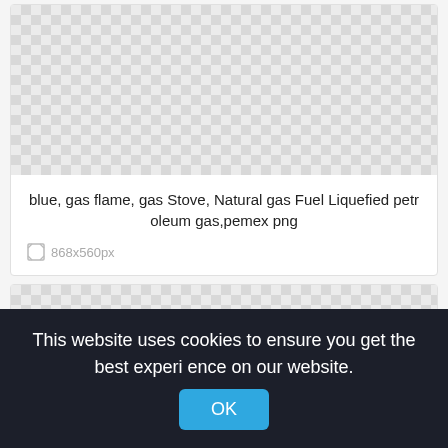[Figure (photo): Transparent/checkerboard background placeholder image area for a PNG file]
blue, gas flame, gas Stove, Natural gas Fuel Liquefied petroleum gas,pemex png
868x560px
[Figure (photo): Second transparent/checkerboard background placeholder image area]
This website uses cookies to ensure you get the best experience on our website.